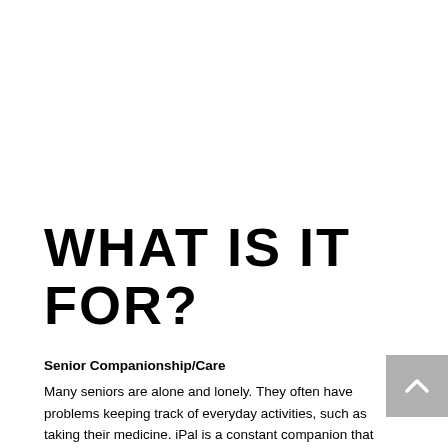WHAT IS IT FOR?
Senior Companionship/Care
Many seniors are alone and lonely. They often have problems keeping track of everyday activities, such as taking their medicine. iPal is a constant companion that supplements personal care services and provides security with alerts for many medical emergencies such as falling.